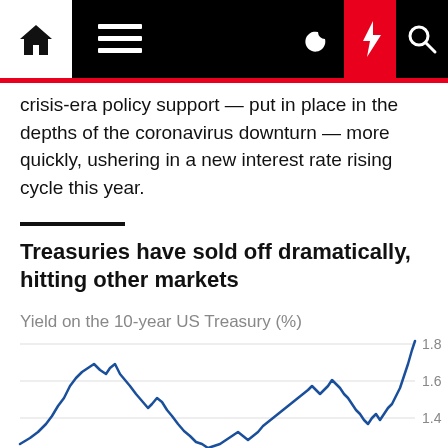Navigation bar with home, menu, moon, lightning, and search icons
crisis-era policy support — put in place in the depths of the coronavirus downturn — more quickly, ushering in a new interest rate rising cycle this year.
Treasuries have sold off dramatically, hitting other markets
Yield on the 10-year US Treasury (%)
[Figure (continuous-plot): Line chart showing yield on the 10-year US Treasury over time. The line is navy/dark blue, showing values ranging roughly from 1.2% to 1.8%+. The line rises to about 1.7-1.8 in a peak, then falls to around 1.2, then rises sharply at the right edge to approximately 1.83%. Y-axis gridlines at 1.4, 1.6, and 1.8.]